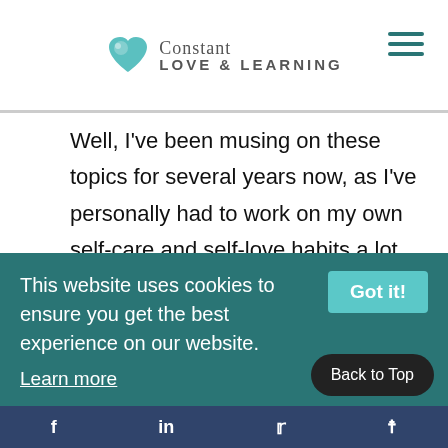Constant Love & Learning
Well, I've been musing on these topics for several years now, as I've personally had to work on my own self-care and self-love habits a lot. And I'm still practicing and refining all the time.
I'm ready to share all the tips, tricks, and tools I've learned, and continue to learn, through my own well-being journey. I'm ready to get you thinking and taking action on honoring your
This website uses cookies to ensure you get the best experience on our website.
Learn more
Back to Top